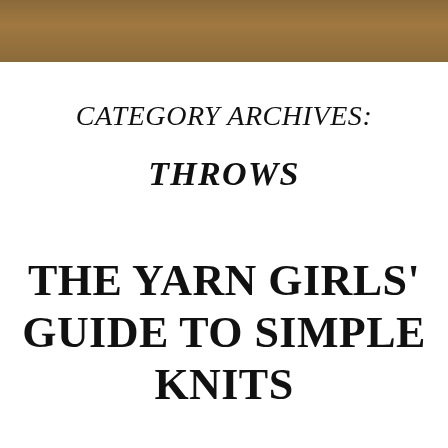[Figure (photo): Brown kraft paper or cardboard texture strip at the top of the page]
CATEGORY ARCHIVES: THROWS
THE YARN GIRLS' GUIDE TO SIMPLE KNITS